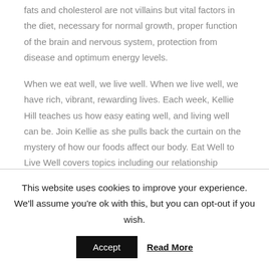fats and cholesterol are not villains but vital factors in the diet, necessary for normal growth, proper function of the brain and nervous system, protection from disease and optimum energy levels.
When we eat well, we live well. When we live well, we have rich, vibrant, rewarding lives. Each week, Kellie Hill teaches us how easy eating well, and living well can be. Join Kellie as she pulls back the curtain on the mystery of how our foods affect our body. Eat Well to Live Well covers topics including our relationship
This website uses cookies to improve your experience. We'll assume you're ok with this, but you can opt-out if you wish.
Accept
Read More